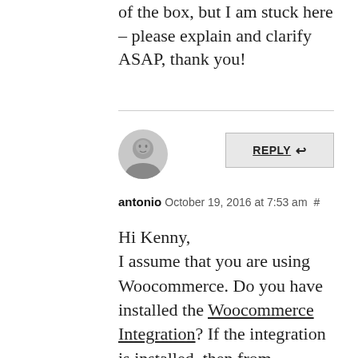of the box, but I am stuck here – please explain and clarify ASAP, thank you!
[Figure (photo): Small circular avatar photo of a person (antonio)]
REPLY ↩
antonio October 19, 2016 at 7:53 am #
Hi Kenny, I assume that you are using Woocommerce. Do you have installed the Woocommerce Integration? If the integration is installed, then from Affiliates->Woocommerce Integration Light you can set the referral rate.